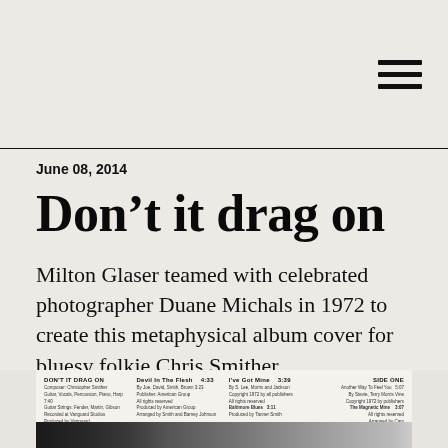menu/navigation icon
June 08, 2014
Don't it drag on
Milton Glaser teamed with celebrated photographer Duane Michals in 1972 to create this metaphysical album cover for bluesy folkie Chris Smither.
[Figure (photo): Partial view of the album cover for 'Don't It Drag On' by Chris Smither, showing the back cover with track listings and the front cover featuring a dark, grainy black-and-white photograph.]